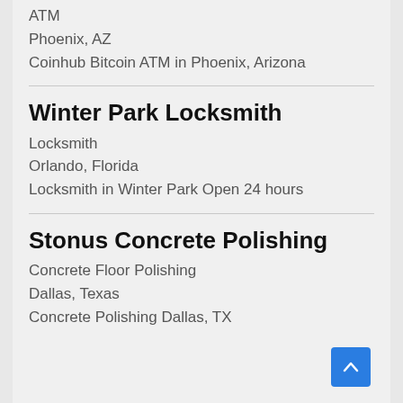ATM
Phoenix, AZ
Coinhub Bitcoin ATM in Phoenix, Arizona
Winter Park Locksmith
Locksmith
Orlando, Florida
Locksmith in Winter Park Open 24 hours
Stonus Concrete Polishing
Concrete Floor Polishing
Dallas, Texas
Concrete Polishing Dallas, TX